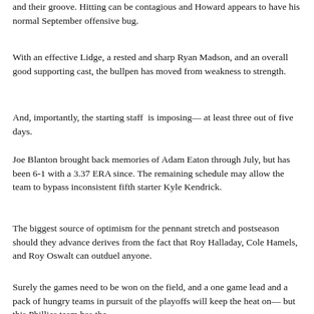and their groove. Hitting can be contagious and Howard appears to have his normal September offensive bug.
With an effective Lidge, a rested and sharp Ryan Madson, and an overall good supporting cast, the bullpen has moved from weakness to strength.
And, importantly, the starting staff  is imposing— at least three out of five days.
Joe Blanton brought back memories of Adam Eaton through July, but has been 6-1 with a 3.37 ERA since. The remaining schedule may allow the team to bypass inconsistent fifth starter Kyle Kendrick.
The biggest source of optimism for the pennant stretch and postseason should they advance derives from the fact that Roy Halladay, Cole Hamels, and Roy Oswalt can outduel anyone.
Surely the games need to be won on the field, and a one game lead and a pack of hungry teams in pursuit of the playoffs will keep the heat on— but this Phillies team has the